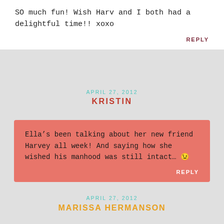SO much fun! Wish Harv and I both had a delightful time!! xoxo
REPLY
APRIL 27, 2012
KRISTIN
Ella’s been talking about her new friend Harvey all week! And saying how she wished his manhood was still intact... 😉
REPLY
APRIL 27, 2012
MARISSA HERMANSON